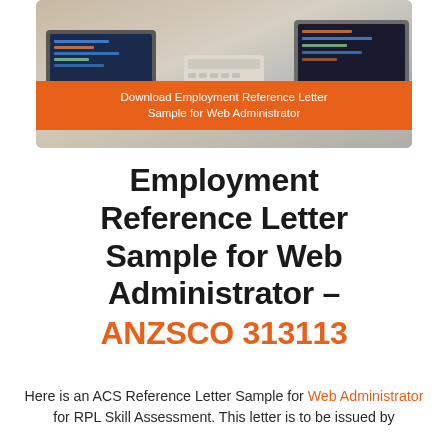[Figure (photo): Laptop computers on a desk viewed from above, forming a cover image. An orange banner overlaid reads 'Download Employment Reference Letter Sample for Web Administrator'.]
Employment Reference Letter Sample for Web Administrator – ANZSCO 313113
Here is an ACS Reference Letter Sample for Web Administrator for RPL Skill Assessment. This letter is to be issued by